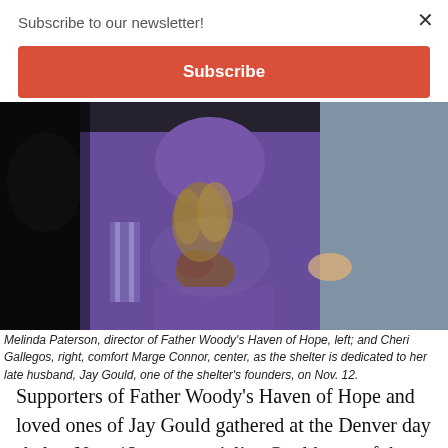Subscribe to our newsletter!
Subscribe
[Figure (photo): A person seated in a purple/violet outfit holding flowers, flanked by two other people. The person on the left is mostly in shadow wearing dark clothing, and the person on the right is wearing a grey patterned jacket. The scene appears to be an indoor dedication ceremony.]
Melinda Paterson, director of Father Woody's Haven of Hope, left; and Cheri Gallegos, right, comfort Marge Connor, center, as the shelter is dedicated to her late husband, Jay Gould, one of the shelter's founders, on Nov. 12.
Supporters of Father Woody’s Haven of Hope and loved ones of Jay Gould gathered at the Denver day shelter Nov. 12 to memorialize Gould, one of the shelter’s founders and longtime servant of Denver’s poor and